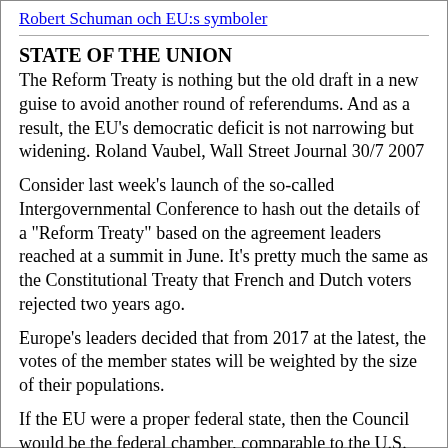Robert Schuman och EU:s symboler
STATE OF THE UNION
The Reform Treaty is nothing but the old draft in a new guise to avoid another round of referendums. And as a result, the EU's democratic deficit is not narrowing but widening. Roland Vaubel, Wall Street Journal 30/7 2007
Consider last week's launch of the so-called Intergovernmental Conference to hash out the details of a "Reform Treaty" based on the agreement leaders reached at a summit in June. It's pretty much the same as the Constitutional Treaty that French and Dutch voters rejected two years ago.
Europe's leaders decided that from 2017 at the latest, the votes of the member states will be weighted by the size of their populations.
If the EU were a proper federal state, then the Council would be the federal chamber, comparable to the U.S. Senate, the German Bundesrat or the Swiss Ständerat. In none of these federal chambers do the votes of the states correspond to the size of their populations.